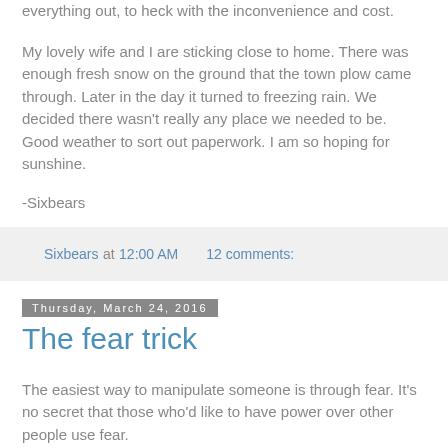everything out, to heck with the inconvenience and cost.
My lovely wife and I are sticking close to home. There was enough fresh snow on the ground that the town plow came through. Later in the day it turned to freezing rain. We decided there wasn't really any place we needed to be. Good weather to sort out paperwork. I am so hoping for sunshine.
-Sixbears
Sixbears at 12:00 AM    12 comments:
Thursday, March 24, 2016
The fear trick
The easiest way to manipulate someone is through fear. It's no secret that those who'd like to have power over other people use fear.